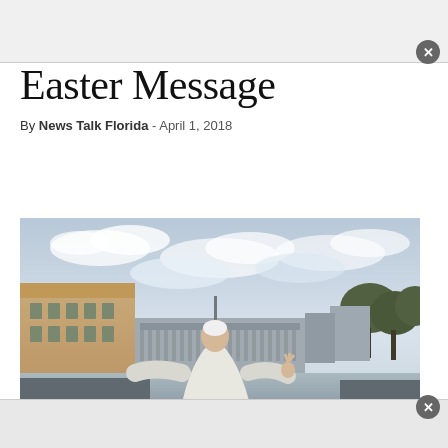Easter Message
By News Talk Florida - April 1, 2018
[Figure (photo): A figure (Pope Francis) in white robes seen from behind, waving to a large crowd in St. Peter's Square, Vatican City, with an overcast sky and Roman cityscape in the background.]